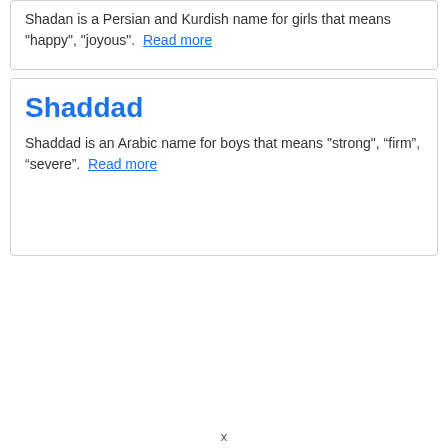Shadan is a Persian and Kurdish name for girls that means "happy", "joyous".  Read more
Shaddad
Shaddad is an Arabic name for boys that means "strong", “firm”, “severe”.  Read more
x